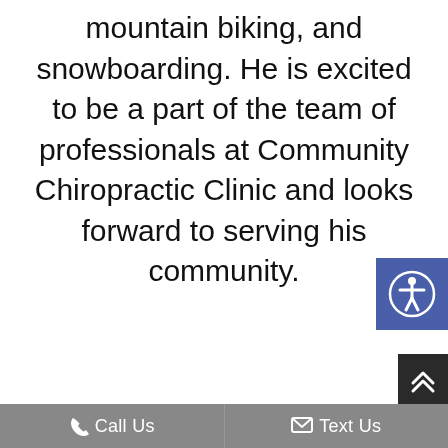mountain biking, and snowboarding. He is excited to be a part of the team of professionals at Community Chiropractic Clinic and looks forward to serving his community.
[Figure (other): Accessibility icon button - blue square with white wheelchair accessibility symbol (person in circle)]
[Figure (other): Scroll to top button - dark square with white double up chevron arrows]
Call Us   Text Us